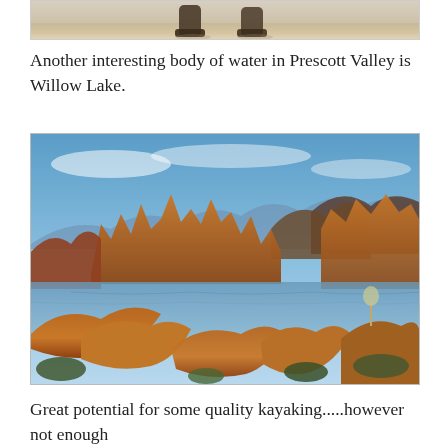[Figure (photo): Partial view of feet/boots walking on sand or light ground, cropped at top of page]
Another interesting body of water in Prescott Valley is Willow Lake.
[Figure (photo): Willow Lake in Prescott Valley, Arizona — a scenic lake surrounded by large orange-brown granite boulder formations and rocky spires, with blue sky and distant mountains in the background]
Great potential for some quality kayaking.....however not enough